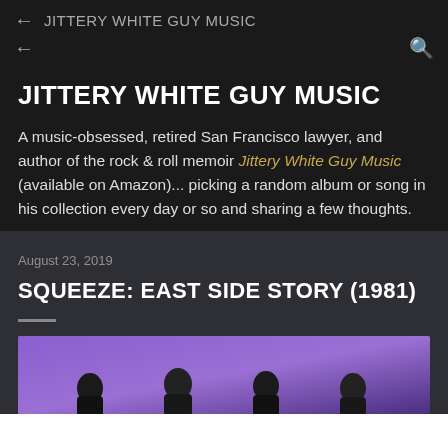JITTERY WHITE GUY MUSIC
JITTERY WHITE GUY MUSIC
A music-obsessed, retired San Francisco lawyer, and author of the rock & roll memoir Jittery White Guy Music (available on Amazon)... picking a random album or song in his collection every day or so and sharing a few thoughts.
August 23, 2019
SQUEEZE: EAST SIDE STORY (1981)
[Figure (photo): Group photo of band members against a purple background]